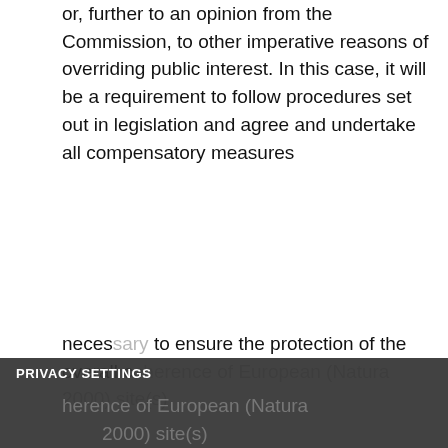or, further to an opinion from the Commission, to other imperative reasons of overriding public interest. In this case, it will be a requirement to follow procedures set out in legislation and agree and undertake all compensatory measures necessary to ensure the protection of the overall coherence of European (Natura 2000) site(s).
PRIVACY SETTINGS
We use cookies
We use cookies on this site to deliver essential functions and give you the best experience using the website. Find out more information about using cookies in our Cookie Policy.
Necessary   Statistics
SAVE PREFERENCES   ACCEPT ALL COOKIES